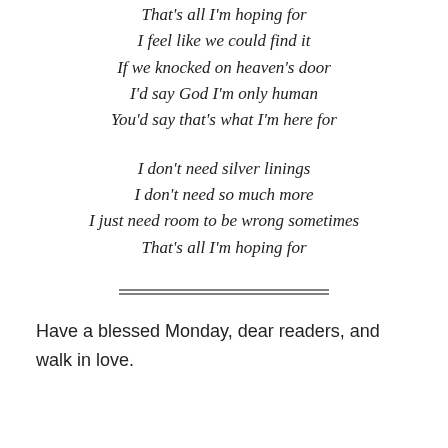That's all I'm hoping for
I feel like we could find it
If we knocked on heaven's door
I'd say God I'm only human
You'd say that's what I'm here for

I don't need silver linings
I don't need so much more
I just need room to be wrong sometimes
That's all I'm hoping for
[Figure (other): Double horizontal rule divider]
Have a blessed Monday, dear readers, and walk in love.